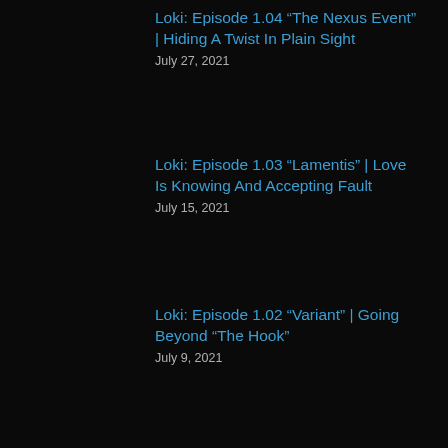Loki: Episode 1.04 “The Nexus Event” | Hiding A Twist In Plain Sight
July 27, 2021
Loki: Episode 1.03 “Lamentis” | Love Is Knowing And Accepting Fault
July 15, 2021
Loki: Episode 1.02 “Variant” | Going Beyond “The Hook”
July 9, 2021
JOIN THE #NERDCLAN
[Figure (photo): Dark photo showing a shield/logo emblem, partially visible, dark brown/amber background]